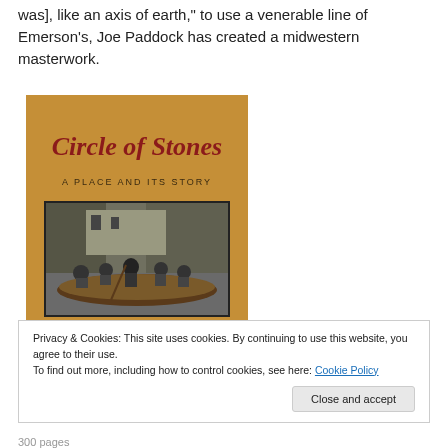was], like an axis of earth," to use a venerable line of Emerson's, Joe Paddock has created a midwestern masterwork.
[Figure (photo): Book cover of 'Circle of Stones: A Place and Its Story' showing title in red cursive lettering on a brown background with a black-and-white historical photo of a group of people in a canoe.]
Privacy & Cookies: This site uses cookies. By continuing to use this website, you agree to their use.
To find out more, including how to control cookies, see here: Cookie Policy
300 pages